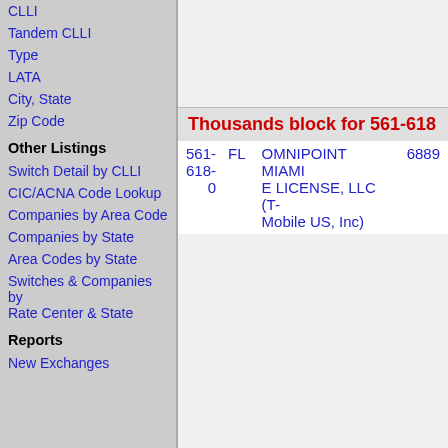CLLI
Tandem CLLI
Type
LATA
City, State
Zip Code
Other Listings
Switch Detail by CLLI
CIC/ACNA Code Lookup
Companies by Area Code
Companies by State
Area Codes by State
Switches & Companies by Rate Center & State
Reports
New Exchanges
Thousands block for 561-618
| 561-618-0 | FL | OMNIPOINT MIAMI E LICENSE, LLC (T-Mobile US, Inc) | 6889 |